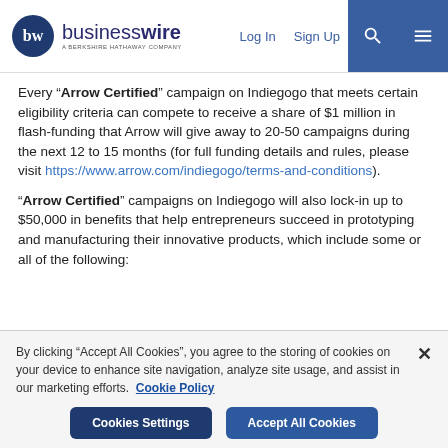businesswire — A BERKSHIRE HATHAWAY COMPANY | Log In | Sign Up
Every “Arrow Certified” campaign on Indiegogo that meets certain eligibility criteria can compete to receive a share of $1 million in flash-funding that Arrow will give away to 20-50 campaigns during the next 12 to 15 months (for full funding details and rules, please visit https://www.arrow.com/indiegogo/terms-and-conditions).
“Arrow Certified” campaigns on Indiegogo will also lock-in up to $50,000 in benefits that help entrepreneurs succeed in prototyping and manufacturing their innovative products, which include some or all of the following:
By clicking “Accept All Cookies”, you agree to the storing of cookies on your device to enhance site navigation, analyze site usage, and assist in our marketing efforts. Cookie Policy
Cookies Settings | Accept All Cookies